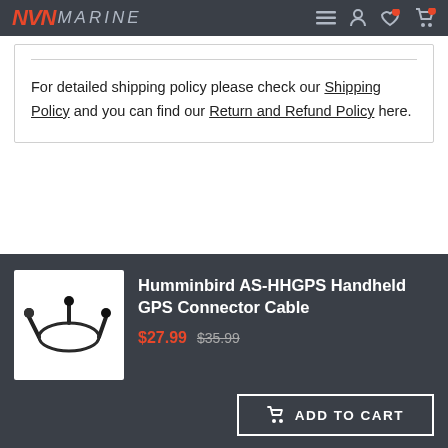NVN MARINE
For detailed shipping policy please check our Shipping Policy and you can find our Return and Refund Policy here.
[Figure (photo): Product photo of Humminbird AS-HHGPS Handheld GPS Connector Cable — black cable with multiple connectors on white background]
Humminbird AS-HHGPS Handheld GPS Connector Cable
$27.99 $35.99
ADD TO CART